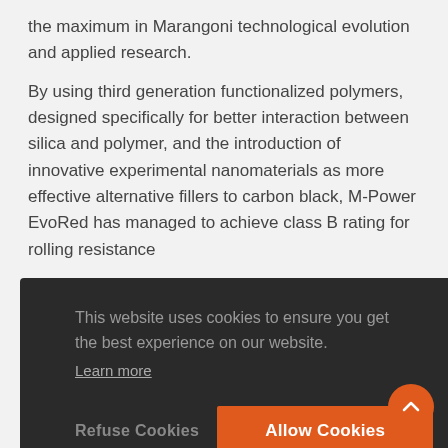the maximum in Marangoni technological evolution and applied research.
By using third generation functionalized polymers, designed specifically for better interaction between silica and polymer, and the introduction of innovative experimental nanomaterials as more effective alternative fillers to carbon black, M-Power EvoRed has managed to achieve class B rating for rolling resistance
This website uses cookies to ensure you get the best experience on our website. Learn more
Refuse Cookies   Allow Cookies
Consolidating this s...